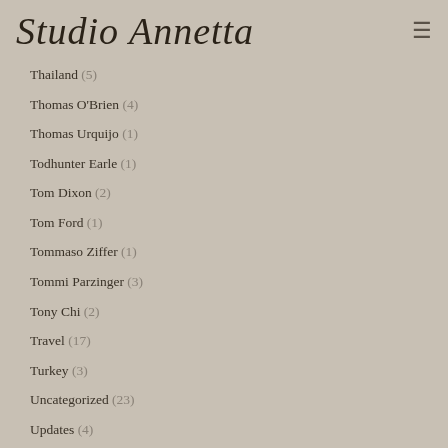Studio Annetta
Thailand (5)
Thomas O'Brien (4)
Thomas Urquijo (1)
Todhunter Earle (1)
Tom Dixon (2)
Tom Ford (1)
Tommaso Ziffer (1)
Tommi Parzinger (3)
Tony Chi (2)
Travel (17)
Turkey (3)
Uncategorized (23)
Updates (4)
Valentino (1)
Veere Grenney (2)